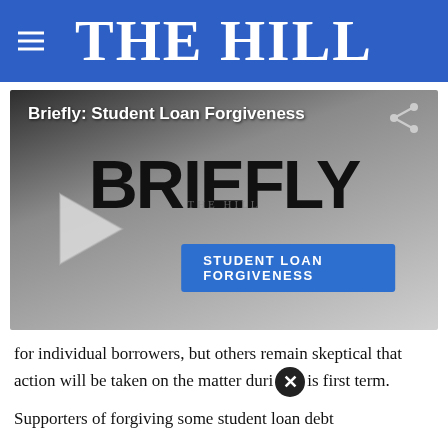THE HILL
[Figure (screenshot): Video thumbnail for 'Briefly: Student Loan Forgiveness' from The Hill, showing the word BRIEFLY in large bold text and a blue badge reading 'STUDENT LOAN FORGIVENESS', with a play button on the left and a share icon top right.]
for individual borrowers, but others remain skeptical that action will be taken on the matter during his first term.
Supporters of forgiving some student loan debt